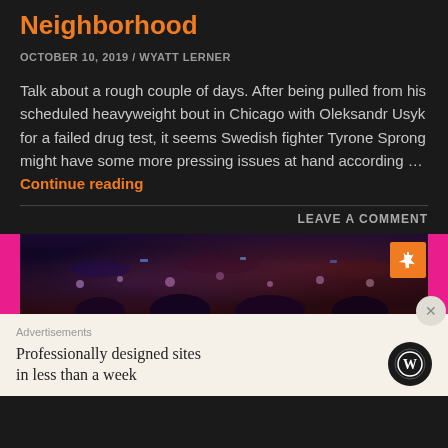Neighborhood
OCTOBER 10, 2019 / WYATT LERNER
Talk about a rough couple of days. After being pulled from his scheduled heavyweight bout in Chicago with Oleksandr Usyk for a failed drug test, it seems Swedish fighter Tyrone Sprong might have some more pressing issues at hand according … Continue reading
LEAVE A COMMENT
[Figure (photo): Photo of crowd at a boxing/sports event with arena lights, partially obscured by pink bars on left and right edges, with an orange pin button in top right corner]
Advertisements
Professionally designed sites in less than a week